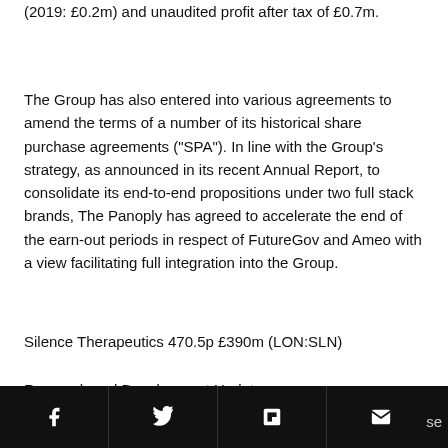(2019: £0.2m) and unaudited profit after tax of £0.7m.
The Group has also entered into various agreements to amend the terms of a number of its historical share purchase agreements ("SPA"). In line with the Group's strategy, as announced in its recent Annual Report, to consolidate its end-to-end propositions under two full stack brands, The Panoply has agreed to accelerate the end of the earn-out periods in respect of FutureGov and Ameo with a view facilitating full integration into the Group.
Silence Therapeutics 470.5p £390m (LON:SLN)
Research and Development Update
social share icons: facebook, twitter, flipboard, email